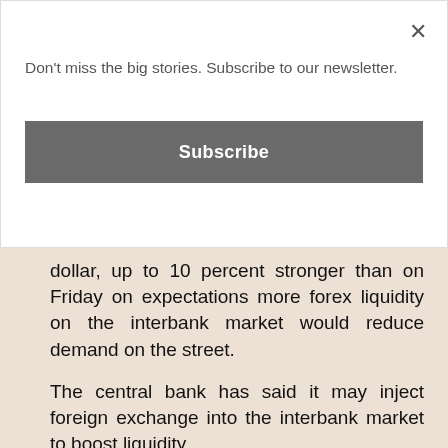Don't miss the big stories. Subscribe to our newsletter.
Subscribe
dollar, up to 10 percent stronger than on Friday on expectations more forex liquidity on the interbank market would reduce demand on the street.
The central bank has said it may inject foreign exchange into the interbank market to boost liquidity.
“They have the room for discretionary FX interventions, and we don’t know how active they are in the market today, so the next days will show where the real equilibrium is,” said Jonas David, emerging markets specialist at UBS